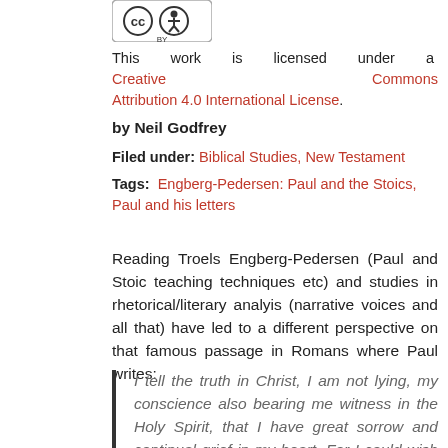[Figure (logo): Creative Commons Attribution license logo (CC BY)]
This work is licensed under a Creative Commons Attribution 4.0 International License.
by Neil Godfrey
Filed under: Biblical Studies, New Testament
Tags: Engberg-Pedersen: Paul and the Stoics, Paul and his letters
Reading Troels Engberg-Pedersen (Paul and Stoic teaching techniques etc) and studies in rhetorical/literary analyis (narrative voices and all that) have led to a different perspective on that famous passage in Romans where Paul writes:
I tell the truth in Christ, I am not lying, my conscience also bearing me witness in the Holy Spirit, that I have great sorrow and continual grief in my heart. For I could wish that I myself